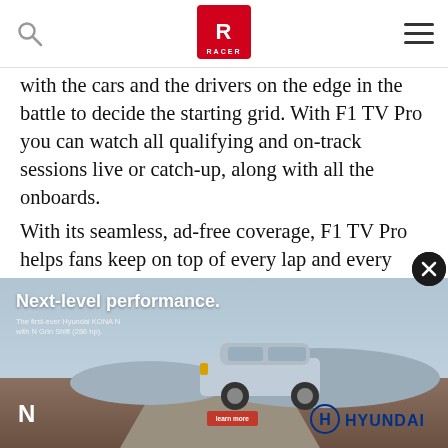RACER
with the cars and the drivers on the edge in the battle to decide the starting grid. With F1 TV Pro you can watch all qualifying and on-track sessions live or catch-up, along with all the onboards.
With its seamless, ad-free coverage, F1 TV Pro helps fans keep on top of every lap and every pass and goes even deeper with insightful pre- and post-race shows. In addition, you can also watch exclusive documentaries and archive races to get a 360-degree view of the pinnacle of motorsports.
With 23 races, including newcomer Miami and returning favorites Australia, Canada and Japan, the 2022 season is
[Figure (photo): Hyundai KONA N advertisement. Blue SUV on desert road. Text: Next-level performance. The first-ever Hyundai KONA N with N Grin Shift (286 hp). Hyundai N and Hyundai logos visible.]